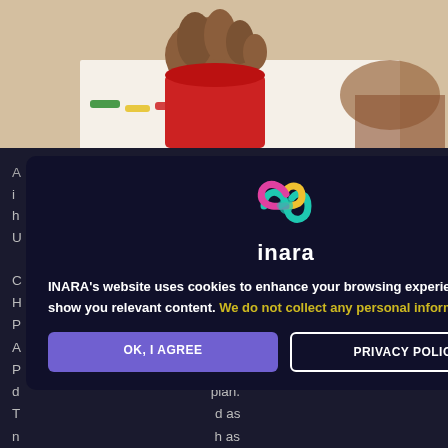[Figure (photo): Close-up photo of a child's hand holding a red pencil/crayon, drawing on paper. Child wearing red sweater sleeve. Colorful items visible on the surface.]
A ... is as i... fully h... ough, U...
[Figure (logo): INARA logo - colorful infinity/knot symbol in yellow, pink/magenta, and teal/green colors, with 'inara' text below in white]
INARA's website uses cookies to enhance your browsing experience and show you relevant content. We do not collect any personal information.
OK, I AGREE
PRIVACY POLICY
speech and psychomotor therapy, etc.